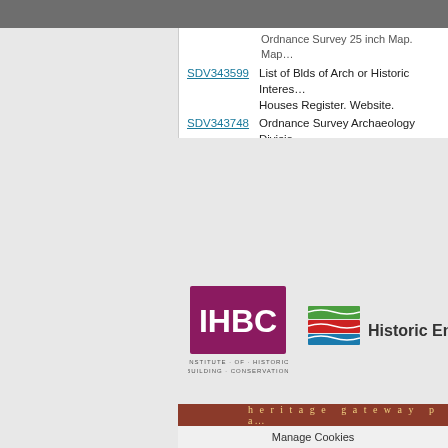Ordnance Survey 25 inch Map. Map ...
SDV343599   List of Blds of Arch or Historic Interes... Houses Register. Website.
SDV343748   Ordnance Survey Archaeology Divisio... SS52SE2. Ordnance Survey Archae...
Associated Monuments: none r...
Associated Finds: none recorde...
Associated Events: none recor...
Date Last Edited:    Nov 17 2009 2:55PM ...
Search results generated by t...
[Figure (logo): IHBC Institute of Historic Building Conservation logo]
[Figure (logo): Historic England logo]
heritage gateway pa...
Manage Cookies